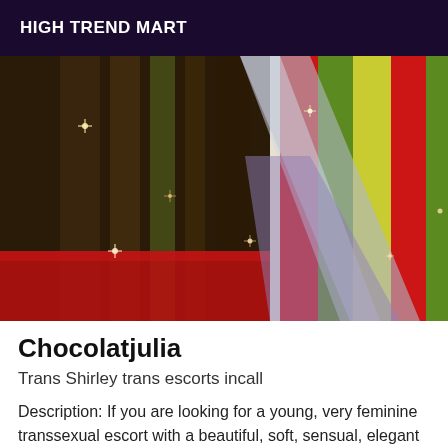HIGH TREND MART
[Figure (photo): Close-up photo of colorful striped fabric or material with sparkle/glitter effects, dark background with red, green, yellow and purple tones]
Chocolatjulia
Trans Shirley trans escorts incall
Description: If you are looking for a young, very feminine transsexual escort with a beautiful, soft, sensual, elegant